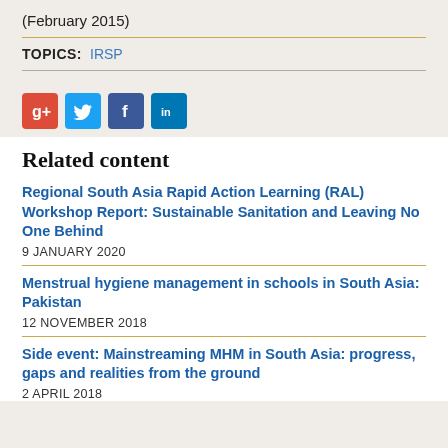(February 2015)
TOPICS:  IRSP
[Figure (infographic): Social media sharing icons: Google Plus (red), Twitter (light blue), Facebook (dark blue), LinkedIn (blue)]
Related content
Regional South Asia Rapid Action Learning (RAL) Workshop Report: Sustainable Sanitation and Leaving No One Behind
9 JANUARY 2020
Menstrual hygiene management in schools in South Asia: Pakistan
12 NOVEMBER 2018
Side event: Mainstreaming MHM in South Asia: progress, gaps and realities from the ground
2 APRIL 2018